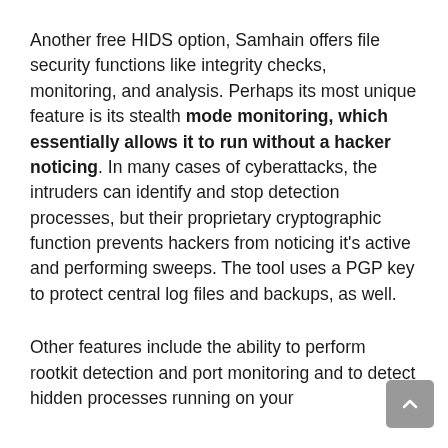Another free HIDS option, Samhain offers file security functions like integrity checks, monitoring, and analysis. Perhaps its most unique feature is its stealth mode monitoring, which essentially allows it to run without a hacker noticing. In many cases of cyberattacks, the intruders can identify and stop detection processes, but their proprietary cryptographic function prevents hackers from noticing it's active and performing sweeps. The tool uses a PGP key to protect central log files and backups, as well.
Other features include the ability to perform rootkit detection and port monitoring and to detect hidden processes running on your